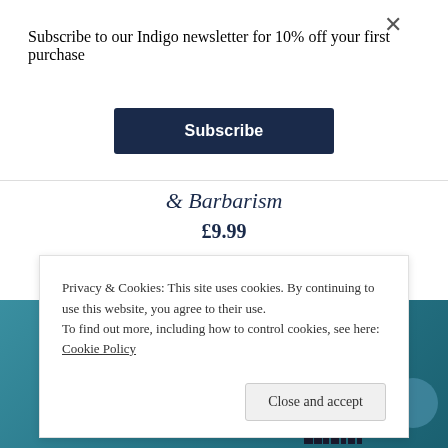Subscribe to our Indigo newsletter for 10% off your first purchase
Subscribe
& Barbarism
£9.99
ADD TO BASKET
Privacy & Cookies: This site uses cookies. By continuing to use this website, you agree to their use.
To find out more, including how to control cookies, see here: Cookie Policy
Close and accept